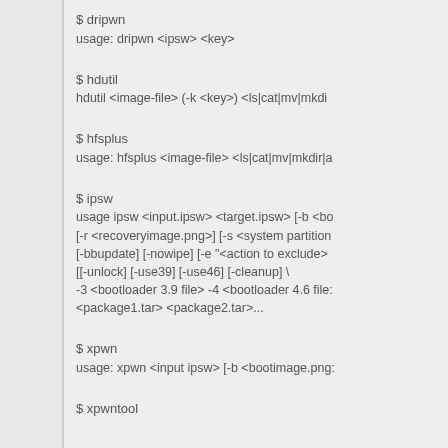$ dripwn
usage: dripwn <ipsw> <key>
$ hdutil
hdutil <image-file> (-k <key>) <ls|cat|mv|mkdi...
$ hfsplus
usage: hfsplus <image-file> <ls|cat|mv|mkdir|a...
$ ipsw
usage ipsw <input.ipsw> <target.ipsw> [-b <bo...
[-r <recoveryimage.png>] [-s <system partition...
[-bbupdate] [-nowipe] [-e "<action to exclude>...
[[-unlock] [-use39] [-use46] [-cleanup] \
-3 <bootloader 3.9 file> -4 <bootloader 4.6 file:...
<package1.tar> <package2.tar>...
$ xpwn
usage: xpwn <input ipsw> [-b <bootimage.png:...
$ xpwntool